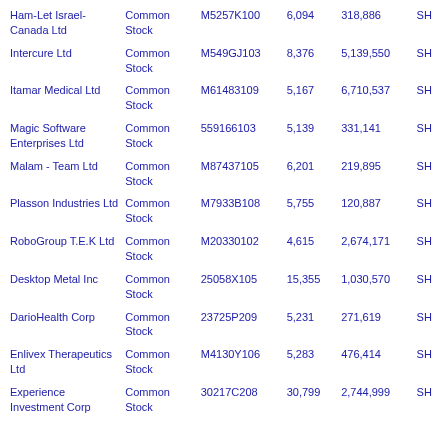| Name | Type | CUSIP | Quantity | Value | Unit |
| --- | --- | --- | --- | --- | --- |
| Ham-Let Israel-Canada Ltd | Common Stock | M5257K100 | 6,094 | 318,886 | SH |
| Intercure Ltd | Common Stock | M549GJ103 | 8,376 | 5,139,550 | SH |
| Itamar Medical Ltd | Common Stock | M61483109 | 5,167 | 6,710,537 | SH |
| Magic Software Enterprises Ltd | Common Stock | 559166103 | 5,139 | 331,141 | SH |
| Malam - Team Ltd | Common Stock | M87437105 | 6,201 | 219,895 | SH |
| Plasson Industries Ltd | Common Stock | M7933B108 | 5,755 | 120,887 | SH |
| RoboGroup T.E.K Ltd | Common Stock | M20330102 | 4,615 | 2,674,171 | SH |
| Desktop Metal Inc | Common Stock | 25058X105 | 15,355 | 1,030,570 | SH |
| DarioHealth Corp | Common Stock | 23725P209 | 5,231 | 271,619 | SH |
| Enlivex Therapeutics Ltd | Common Stock | M4130Y106 | 5,283 | 476,414 | SH |
| Experience Investment Corp | Common Stock | 30217C208 | 30,799 | 2,744,999 | SH |